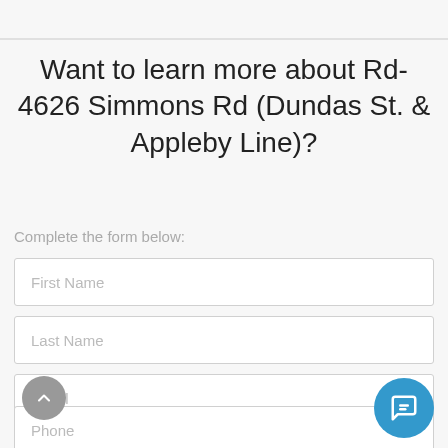Want to learn more about Rd-4626 Simmons Rd (Dundas St. & Appleby Line)?
Complete the form below:
First Name
Last Name
Email
Phone